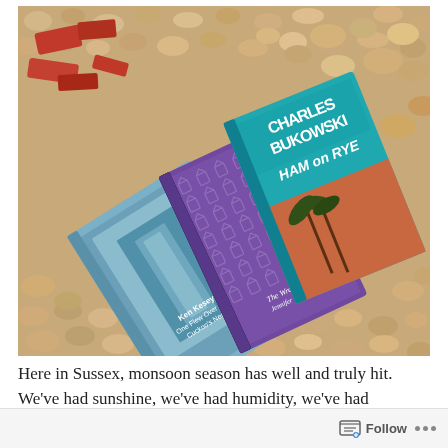[Figure (photo): Three books lying on a gravel/stone surface. From bottom to top: 'One Flew Over the Cuckoo's Nest' by Ken Kesey (blue/grey cover showing a doorway), a purple book with small house patterns ('The Wren' by something), and 'Ham on Rye' by Charles Bukowski (teal/turquoise cover with palm trees). Red brick fragments visible at top left.]
Here in Sussex, monsoon season has well and truly hit. We've had sunshine, we've had humidity, we've had floods and we've
Follow ···